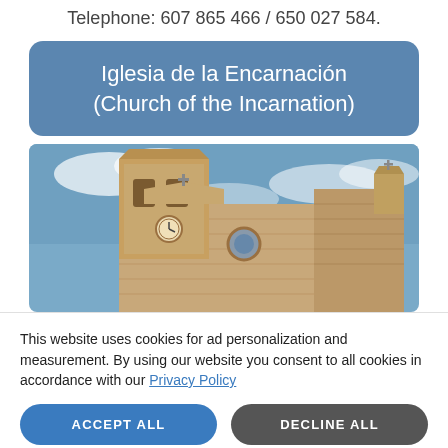Telephone: 607 865 466 / 650 027 584.
Iglesia de la Encarnación (Church of the Incarnation)
[Figure (photo): Upward-angle photograph of a Spanish colonial church with a bell tower, clock, and ornate stone facade against a blue sky with clouds.]
This website uses cookies for ad personalization and measurement. By using our website you consent to all cookies in accordance with our Privacy Policy
ACCEPT ALL
DECLINE ALL